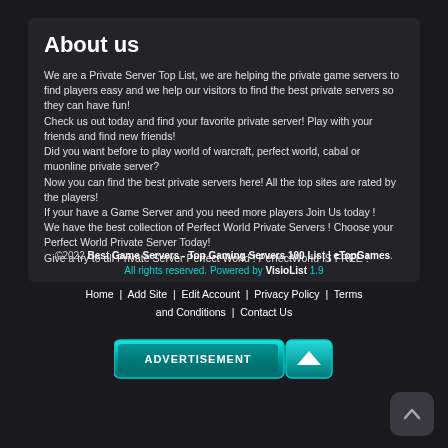About us
We are a Private Server Top List, we are helping the private game servers to find players easy and we help our visitors to find the best private servers so they can have fun!
Check us out today and find your favorite private server! Play with your friends and find new friends!
Did you want before to play world of warcraft, perfect world, cabal or muonline private server?
Now you can find the best private servers here! All the top sites are rated by the players!
If your have a Game Server and you need more players Join Us today !
We have the best collection of Perfect World Private Servers ! Choose your Perfect World Private Server Today!
Give a try to all Private Server Perfect World ! PerfectWorld IS FREE !
©2022 Best Game Servers - Top Gaming Servers 100 List | eTopGames. All rights reserved. Powered by VisioList 1.9
Home | Add Site | Edit Account | Privacy Policy | Terms and Conditions | Contact Us
[Figure (other): Teal/cyan styled advertisement banner button with 'ADVERTISEMENT' text and arrow icon]